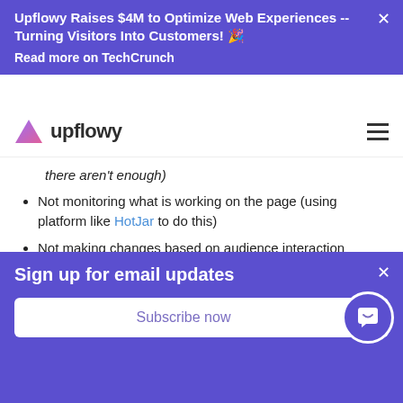Upflowy Raises $4M to Optimize Web Experiences -- Turning Visitors Into Customers! 🎉
Read more on TechCrunch
[Figure (logo): Upflowy logo with purple triangle and text 'upflowy']
there aren't enough)
Not monitoring what is working on the page (using platform like HotJar to do this)
Not making changes based on audience interaction
Not making it clear who you are and what you do
Make assumptions and test these. Change your page up
Sign up for email updates
Subscribe now